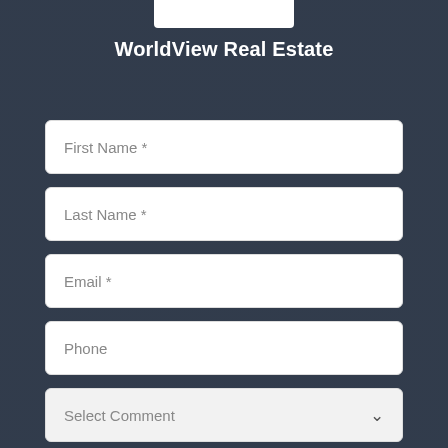[Figure (photo): Dark overlay background photo of a person in a dimly lit setting]
WorldView Real Estate
First Name *
Last Name *
Email *
Phone
Select Comment
I'm not a robot